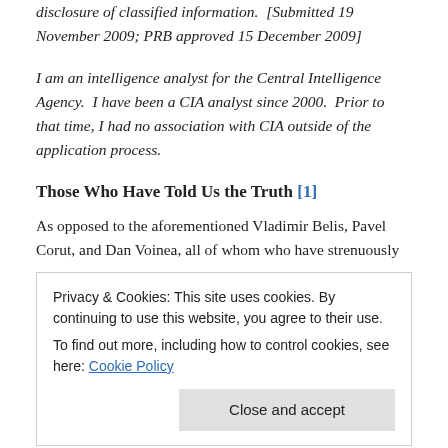disclosure of classified information. [Submitted 19 November 2009; PRB approved 15 December 2009]
I am an intelligence analyst for the Central Intelligence Agency. I have been a CIA analyst since 2000. Prior to that time, I had no association with CIA outside of the application process.
Those Who Have Told Us the Truth [1]
As opposed to the aforementioned Vladimir Belis, Pavel Corut, and Dan Voinea, all of whom who have strenuously
Privacy & Cookies: This site uses cookies. By continuing to use this website, you agree to their use.
To find out more, including how to control cookies, see here: Cookie Policy
whistleblowers, who have admitted the Securitate's role in